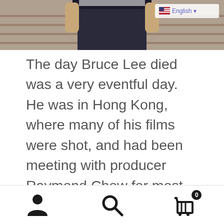[Figure (photo): Partial photo of a person in dark shorts and top, cropped at torso level, with a brick wall background. An English language selector badge with US flag appears in the top right corner.]
The day Bruce Lee died was a very eventful day. He was in Hong Kong, where many of his films were shot, and had been meeting with producer Raymond Chow for most of the day to discuss his next film. He was apparently full of enthusiasm, playing scene after scene with energy despite the scorching heat of the summer. After that, Bruce Lee went to a friend’s apartment, or as some would later point out, the apartment of his mistress, Taiwanese actress
Navigation bar with person icon, search icon, and shopping cart icon with badge showing 0